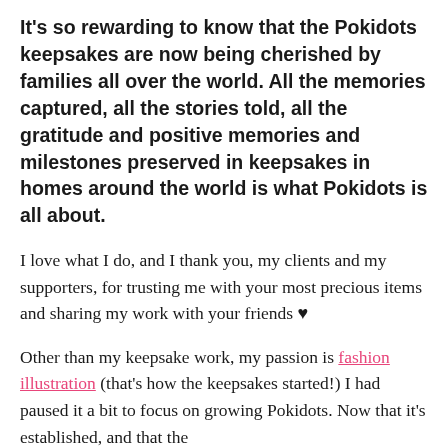It's so rewarding to know that the Pokidots keepsakes are now being cherished by families all over the world. All the memories captured, all the stories told, all the gratitude and positive memories and milestones preserved in keepsakes in homes around the world is what Pokidots is all about.
I love what I do, and I thank you, my clients and my supporters, for trusting me with your most precious items and sharing my work with your friends ♥
Other than my keepsake work, my passion is fashion illustration (that's how the keepsakes started!) I had paused it a bit to focus on growing Pokidots. Now that it's established, and that the